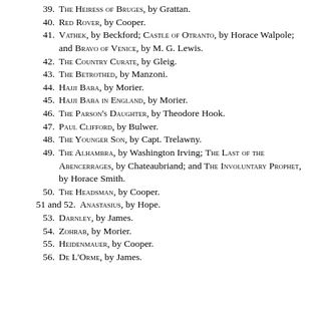39. The Heiress of Bruges, by Grattan.
40. Red Rover, by Cooper.
41. Vathek, by Beckford; Castle of Otranto, by Horace Walpole; and Bravo of Venice, by M. G. Lewis.
42. The Country Curate, by Gleig.
43. The Betrothed, by Manzoni.
44. Hajji Baba, by Morier.
45. Hajji Baba in England, by Morier.
46. The Parson's Daughter, by Theodore Hook.
47. Paul Clifford, by Bulwer.
48. The Younger Son, by Capt. Trelawny.
49. The Alhambra, by Washington Irving; The Last of the Abencerrages, by Chateaubriand; and The Involuntary Prophet, by Horace Smith.
50. The Headsman, by Cooper.
51 and 52. Anastasius, by Hope.
53. Darnley, by James.
54. Zohrab, by Morier.
55. Heidenmauer, by Cooper.
56. De L'Orme, by James.